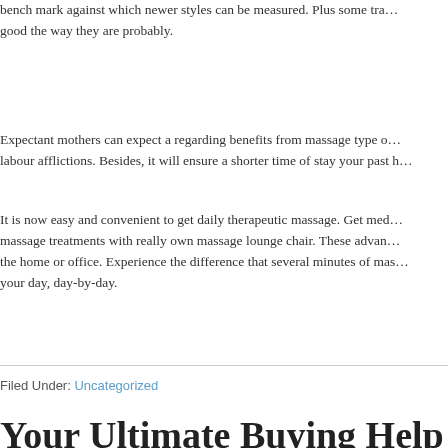bench mark against which newer styles can be measured. Plus some tra… good the way they are probably.
Expectant mothers can expect a regarding benefits from massage type o… labour afflictions. Besides, it will ensure a shorter time of stay your past h…
It is now easy and convenient to get daily therapeutic massage. Get med… massage treatments with really own massage lounge chair. These advan… the home or office. Experience the difference that several minutes of mas… your day, day-by-day.
Filed Under: Uncategorized
Your Ultimate Buying Help Tudor Clo…
June 2, 2022 by admin
Every holiday destination in the world becomes popular for most common… activities, food, sites of historic importance and shopping. Very few place… stake an incident to having money and time and more. Kind place is Chri… Zealand has world-class adventure tourism to offer. Always be replete wi… draws tourists and holiday-goers from all around the world for its shoppin… markets. One of the most useful ways to take in the shopping scene o…